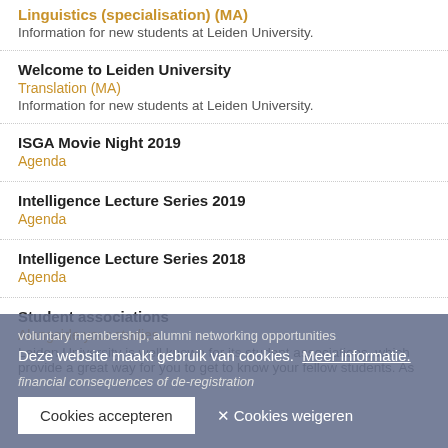Linguistics (specialisation) (MA)
Information for new students at Leiden University.
Welcome to Leiden University
Translation (MA)
Information for new students at Leiden University.
ISGA Movie Night 2019
Agenda
Intelligence Lecture Series 2019
Agenda
Intelligence Lecture Series 2018
Agenda
Student associations
Alongside your studies
Leiden University is well known for its student associations, which provide a great way for you to get to know your fellow students. As
financial consequences of de-registration
Deze website maakt gebruik van cookies. Meer informatie.
Cookies accepteren
✕ Cookies weigeren